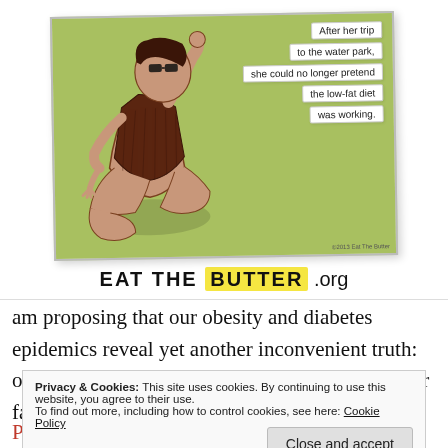[Figure (illustration): Cartoon illustration of a woman in a swimsuit sitting on the ground with speech bubble text reading: 'After her trip to the water park, she could no longer pretend the low-fat diet was working.' Below the cartoon is the text 'EAT THE BUTTER .org' with BUTTER highlighted in yellow.]
am proposing that our obesity and diabetes epidemics reveal yet another inconvenient truth: our official dietary advice sets most people up for failure. Perhaps
Privacy & Cookies: This site uses cookies. By continuing to use this website, you agree to their use. To find out more, including how to control cookies, see here: Cookie Policy
Close and accept
Paleo. Who knew?